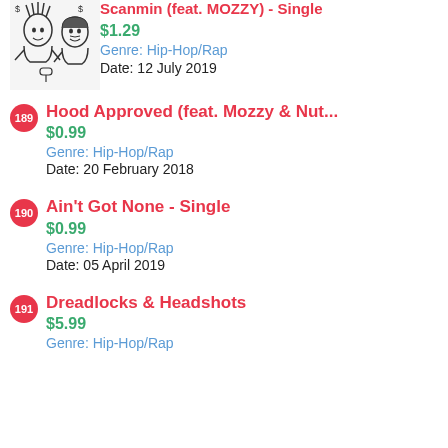[Figure (illustration): Black and white illustration of two people (musicians), one with dreadlocks and one with short hair.]
Scanmin (feat. MOZZY) - Single
$1.29
Genre: Hip-Hop/Rap
Date: 12 July 2019
189 Hood Approved (feat. Mozzy & Nut...
$0.99
Genre: Hip-Hop/Rap
Date: 20 February 2018
190 Ain't Got None - Single
$0.99
Genre: Hip-Hop/Rap
Date: 05 April 2019
191 Dreadlocks & Headshots
$5.99
Genre: Hip-Hop/Rap